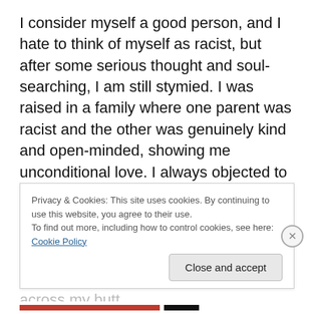I consider myself a good person, and I hate to think of myself as racist, but after some serious thought and soul-searching, I am still stymied. I was raised in a family where one parent was racist and the other was genuinely kind and open-minded, showing me unconditional love. I always objected to the slurs and attitudes of the closed-minded parent, and sometimes even called them out for their behavior, which earned me more bullying and a few backhands to the face or belt strokes across my butt
Privacy & Cookies: This site uses cookies. By continuing to use this website, you agree to their use.
To find out more, including how to control cookies, see here: Cookie Policy
Close and accept